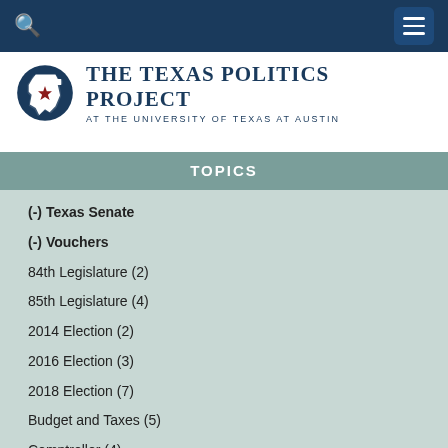The Texas Politics Project at the University of Texas at Austin
TOPICS
(-) Texas Senate
(-) Vouchers
84th Legislature (2)
85th Legislature (4)
2014 Election (2)
2016 Election (3)
2018 Election (7)
Budget and Taxes (5)
Comptroller (4)
Concealed Carry (2)